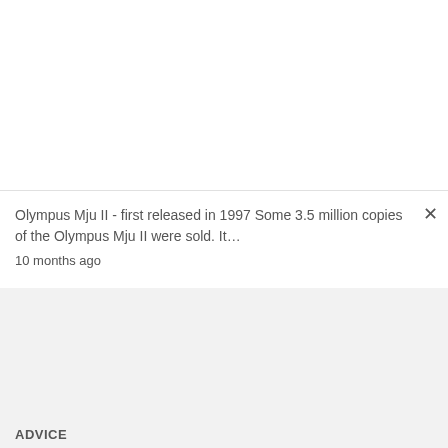Olympus Mju II - first released in 1997 Some 3.5 million copies of the Olympus Mju II were sold. It…
10 months ago
ADVICE